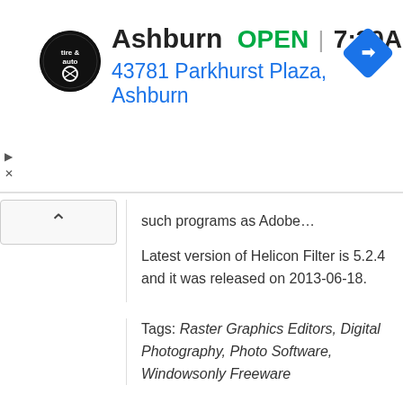[Figure (screenshot): Advertisement banner for a tire and auto shop in Ashburn showing logo, OPEN status, hours 7:30AM–6PM, address 43781 Parkhurst Plaza Ashburn, and a blue navigation arrow icon]
such programs as Adobe…
Latest version of Helicon Filter is 5.2.4 and it was released on 2013-06-18.
Tags: Raster Graphics Editors, Digital Photography, Photo Software, Windowsonly Freeware
Microsoft Group Shot by Microsoft Research
Windows
Group Shot is a photo combining program developed by Microsoft Research. Its purpose is to solve the problem of individuals in group photographs that might